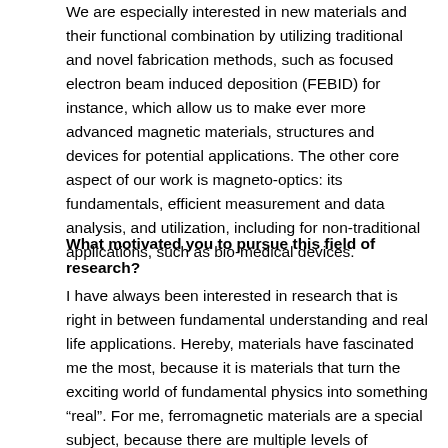We are especially interested in new materials and their functional combination by utilizing traditional and novel fabrication methods, such as focused electron beam induced deposition (FEBID) for instance, which allow us to make ever more advanced magnetic materials, structures and devices for potential applications. The other core aspect of our work is magneto-optics: its fundamentals, efficient measurement and data analysis, and utilization, including for non-traditional applications, such as bio-medical devices.
What motivated you to pursue this field of research?
I have always been interested in research that is right in between fundamental understanding and real life applications. Hereby, materials have fascinated me the most, because it is materials that turn the exciting world of fundamental physics into something “real”. For me, ferromagnetic materials are a special subject, because there are multiple levels of relevance and understanding associated with them, a fact that is due to the multitude of interactions that determine their properties. So, magnetism research is on one end very modern, utilizing the most recent theoretical and technical advances, but it also has a rich tradition of knowledge that is still crucially important for today’s research work.